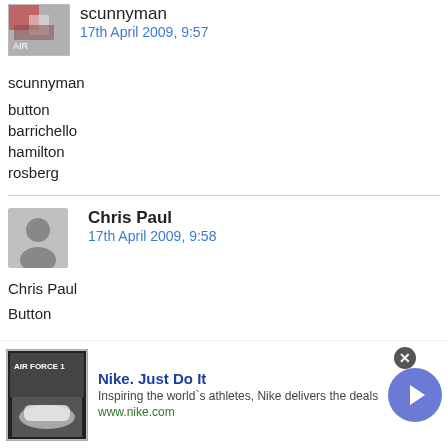scunnyman — 17th April 2009, 9:57
scunnyman
button
barrichello
hamilton
rosberg
Chris Paul — 17th April 2009, 9:58
Chris Paul
Button
[Figure (other): Nike advertisement banner: Nike logo, Air Force 1 shoes image, text 'Nike. Just Do It', 'Inspiring the world's athletes, Nike delivers the deals', 'www.nike.com', arrow button, close button]